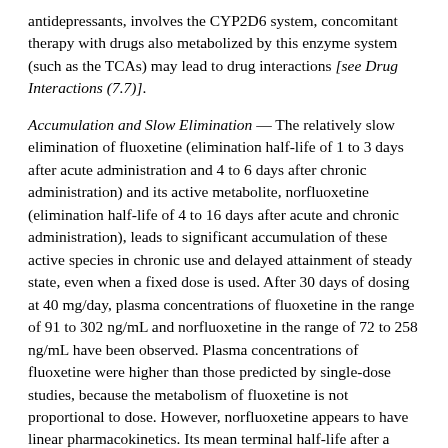antidepressants, involves the CYP2D6 system, concomitant therapy with drugs also metabolized by this enzyme system (such as the TCAs) may lead to drug interactions [see Drug Interactions (7.7)].
Accumulation and Slow Elimination — The relatively slow elimination of fluoxetine (elimination half-life of 1 to 3 days after acute administration and 4 to 6 days after chronic administration) and its active metabolite, norfluoxetine (elimination half-life of 4 to 16 days after acute and chronic administration), leads to significant accumulation of these active species in chronic use and delayed attainment of steady state, even when a fixed dose is used. After 30 days of dosing at 40 mg/day, plasma concentrations of fluoxetine in the range of 91 to 302 ng/mL and norfluoxetine in the range of 72 to 258 ng/mL have been observed. Plasma concentrations of fluoxetine were higher than those predicted by single-dose studies, because the metabolism of fluoxetine is not proportional to dose. However, norfluoxetine appears to have linear pharmacokinetics. Its mean terminal half-life after a single dose was 8.6 days and after multiple dosing was 9.3 days. Steady-state levels after prolonged dosing are similar to levels seen at 4 to 5 weeks.
The long elimination half-lives of fluoxetine and norfluoxetine assure that, even when dosing is stopped, active drug substance